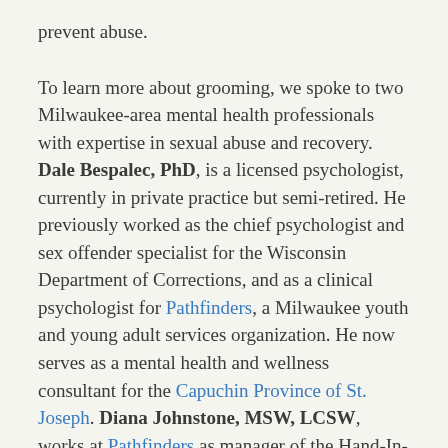prevent abuse.
To learn more about grooming, we spoke to two Milwaukee-area mental health professionals with expertise in sexual abuse and recovery. Dale Bespalec, PhD, is a licensed psychologist, currently in private practice but semi-retired. He previously worked as the chief psychologist and sex offender specialist for the Wisconsin Department of Corrections, and as a clinical psychologist for Pathfinders, a Milwaukee youth and young adult services organization. He now serves as a mental health and wellness consultant for the Capuchin Province of St. Joseph. Diana Johnstone, MSW, LCSW, works at Pathfinders as manager of the Hand-In-Hand program, which provides outpatient counseling to youth survivors of sexual violence